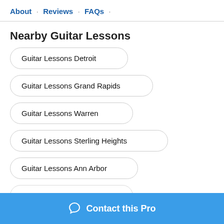About · Reviews · FAQs ·
Nearby Guitar Lessons
Guitar Lessons Detroit
Guitar Lessons Grand Rapids
Guitar Lessons Warren
Guitar Lessons Sterling Heights
Guitar Lessons Ann Arbor
Contact this Pro